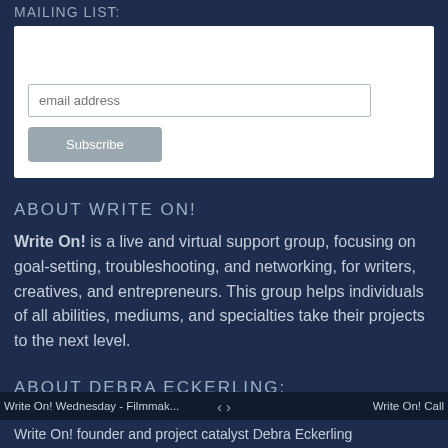MAILING LIST:
[Figure (other): Email subscription form with an email address input field and a Subscribe button]
ABOUT WRITE ON!
Write On! is a live and virtual support group, focusing on goal-setting, troubleshooting, and networking, for writers, creatives, and entrepreneurs. This group helps individuals of all abilities, mediums, and specialties take their projects to the next level.
ABOUT DEBRA ECKERLING:
Write On! Wednesday - Filmmak... < > Write On! Call
Write On! founder and project catalyst Debra Eckerling